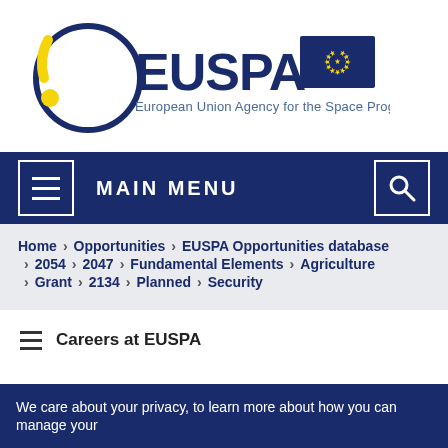[Figure (logo): EUSPA logo — European Union Agency for the Space Programme, with circular orbit graphic in blue and yellow and EU flag]
MAIN MENU
Home > Opportunities > EUSPA Opportunities database > 2054 > 2047 > Fundamental Elements > Agriculture > Grant > 2134 > Planned > Security
Careers at EUSPA
We care about your privacy, to learn more about how you can manage your